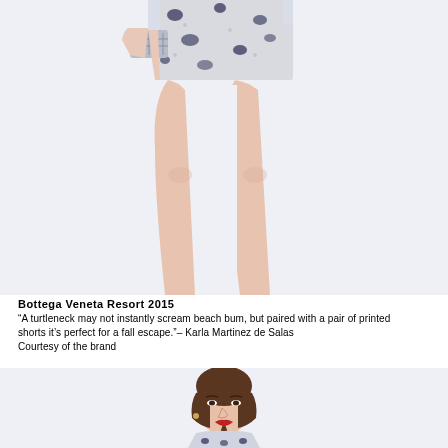[Figure (photo): Fashion photo showing a model from waist down wearing patterned/printed shorts and holding a woven bag, with bare legs visible against a light blue-white background. Bottega Veneta Resort 2015.]
Bottega Veneta Resort 2015
“A turtleneck may not instantly scream beach bum, but paired with a pair of printed shorts it’s perfect for a fall escape.” – Karla Martinez de Salas
Courtesy of the brand
[Figure (photo): Fashion photo showing a model from the shoulders up, with dark hair pulled back, wearing a patterned top. Bottega Veneta Resort 2015.]